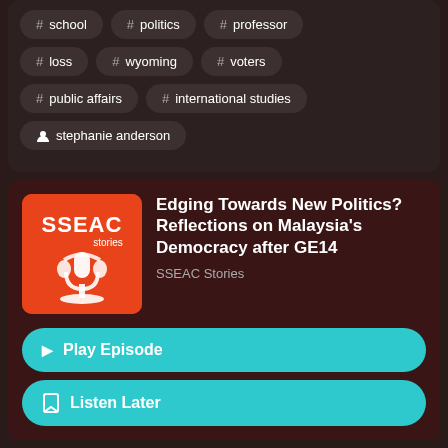# school
# politics
# professor
# loss
# wyoming
# voters
# public affairs
# international studies
stephanie anderson
[Figure (logo): SSEAC Stories podcast logo, orange/red background with white text SSEAC stories and a microphone graphic]
Edging Towards New Politics? Reflections on Malaysia's Democracy after GE14
SSEAC Stories
Play Episode
Listen Later